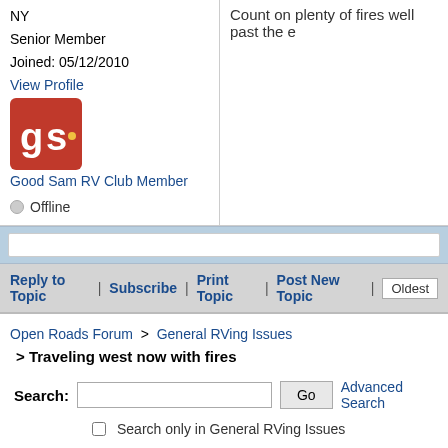NY
Senior Member
Joined: 05/12/2010
View Profile
[Figure (logo): Good Sam RV Club badge logo — red square with stylized 'gs' letters in white and yellow]
Good Sam RV Club Member
Offline
Count on plenty of fires well past the e
Reply to Topic | Subscribe | Print Topic | Post New Topic | Oldest
Open Roads Forum > General RVing Issues
> Traveling west now with fires
Search:
Go
Advanced Search
Search only in General RVing Issues